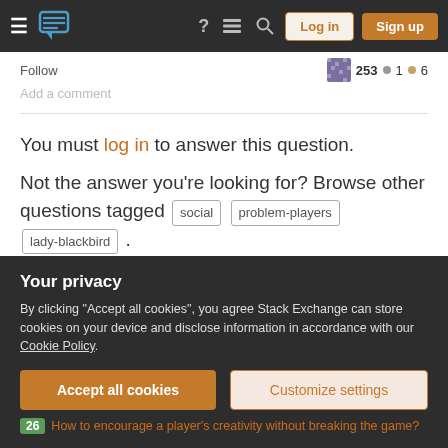Stack Exchange navigation bar with hamburger menu, logo, help, chat, search, Log in, Sign up buttons
Follow   253  1  6   Add a comment
You must log in to answer this question.
Not the answer you're looking for? Browse other questions tagged social problem-players lady-blackbird .
Featured on Meta
Recent site instability, major outages – July/August 2022
Your privacy
By clicking "Accept all cookies", you agree Stack Exchange can store cookies on your device and disclose information in accordance with our Cookie Policy.
Accept all cookies
Customize settings
26  How to encourage a player's creativity without breaking the game?